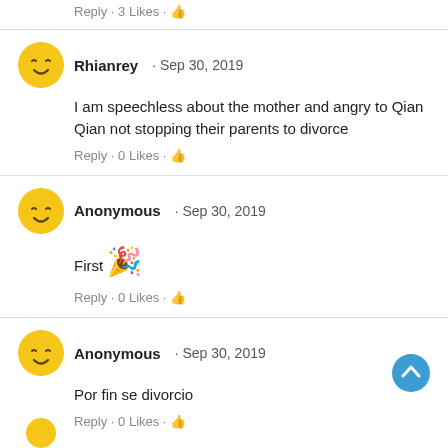Reply · 3 Likes · 👍
Rhianrey · Sep 30, 2019
I am speechless about the mother and angry to Qian Qian not stopping their parents to divorce
Reply · 0 Likes · 👍
Anonymous · Sep 30, 2019
First 🎉
Reply · 0 Likes · 👍
Anonymous · Sep 30, 2019
Por fin se divorcio
Reply · 0 Likes · 👍